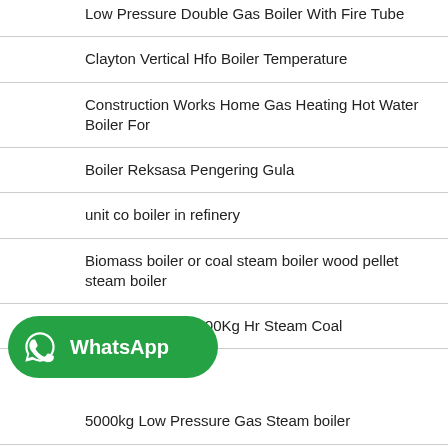Low Pressure Double Gas Boiler With Fire Tube
Clayton Vertical Hfo Boiler Temperature
Construction Works Home Gas Heating Hot Water Boiler For
Boiler Reksasa Pengering Gula
unit co boiler in refinery
Biomass boiler or coal steam boiler wood pellet steam boiler
High Efficiency 8000Kg Hr Steam Coal
5000kg Low Pressure Gas Steam boiler
500 to 4500KG Gas Steam Boiler for Hotel